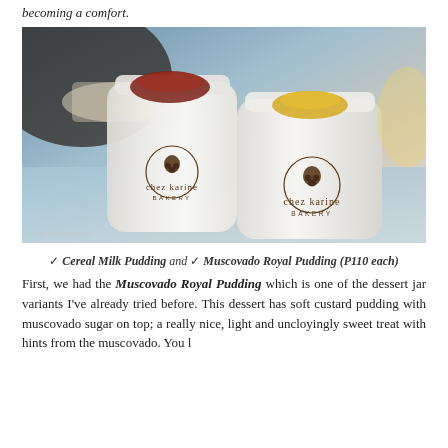becoming a comfort.
[Figure (photo): Two glass jars of Chez Karine Bakery dessert puddings on a blue tablecloth, one with muscovado sugar topping and one with yellow topping, both branded with Chez Karine Bakery logo. Watermark: thepurpledoll.net]
✓ Cereal Milk Pudding and ✓ Muscovado Royal Pudding (P110 each)
First, we had the Muscovado Royal Pudding which is one of the dessert jar variants I've already tried before. This dessert has soft custard pudding with muscovado sugar on top; a really nice, light and uncloyingly sweet treat with hints from the muscovado. You l...